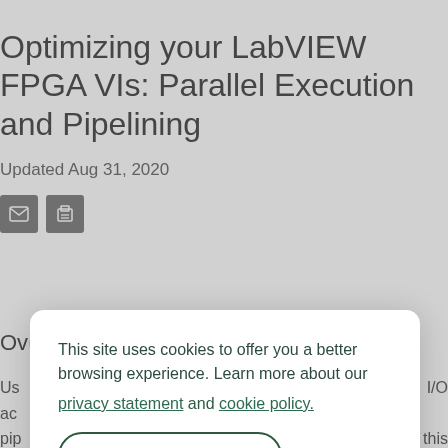Optimizing your LabVIEW FPGA VIs: Parallel Execution and Pipelining
Updated Aug 31, 2020
[Figure (other): Email and print icon buttons]
Ov...
Us... I/O ac... pip... this do... A co...
This site uses cookies to offer you a better browsing experience. Learn more about our privacy statement and cookie policy. Yes, I accept